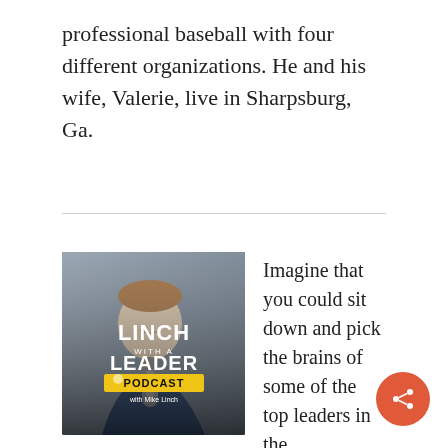professional baseball with four different organizations. He and his wife, Valerie, live in Sharpsburg, Ga.
[Figure (illustration): Linch With A Leader Podcast cover art showing a man in a blue shirt with a microphone, with text: LINCH WITH A LEADER PODCAST with Mike Linch]
Imagine that you could sit down and pick the brains of some of the top leaders in the country! That's the premise behind the